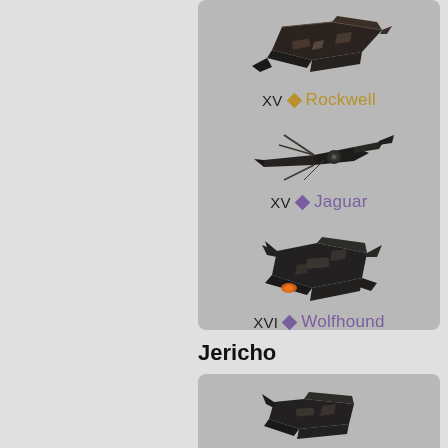[Figure (illustration): Game UI panel showing three spacecraft entries: XV Rockwell (gold), XV Jaguar (purple), XVI Wolfhound (purple), followed by a section header 'Jericho' and the start of another card with a spacecraft image.]
XV ◆ Rockwell
XV ◆ Jaguar
XVI ◆ Wolfhound
Jericho